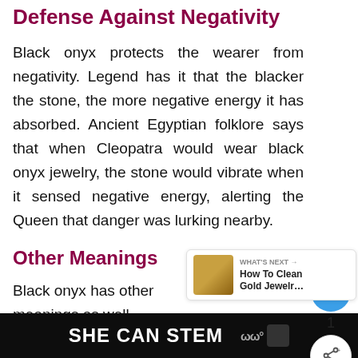Defense Against Negativity
Black onyx protects the wearer from negativity. Legend has it that the blacker the stone, the more negative energy it has absorbed. Ancient Egyptian folklore says that when Cleopatra would wear black onyx jewelry, the stone would vibrate when it sensed negative energy, alerting the Queen that danger was lurking nearby.
Other Meanings
Black onyx has other meanings as well, including:
SHE CAN STEM